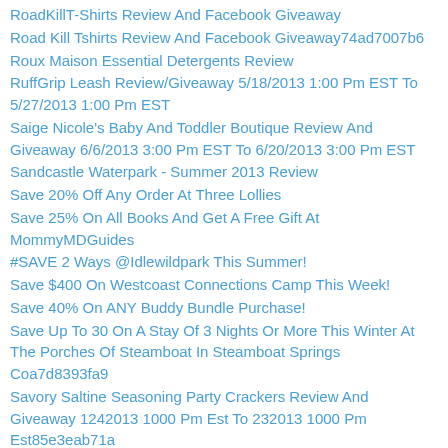RoadKillT-Shirts Review And Facebook Giveaway
Road Kill Tshirts Review And Facebook Giveaway74ad7007b6
Roux Maison Essential Detergents Review
RuffGrip Leash Review/Giveaway 5/18/2013 1:00 Pm EST To 5/27/2013 1:00 Pm EST
Saige Nicole's Baby And Toddler Boutique Review And Giveaway 6/6/2013 3:00 Pm EST To 6/20/2013 3:00 Pm EST
Sandcastle Waterpark - Summer 2013 Review
Save 20% Off Any Order At Three Lollies
Save 25% On All Books And Get A Free Gift At MommyMDGuides
#SAVE 2 Ways @Idlewildpark This Summer!
Save $400 On Westcoast Connections Camp This Week!
Save 40% On ANY Buddy Bundle Purchase!
Save Up To 30 On A Stay Of 3 Nights Or More This Winter At The Porches Of Steamboat In Steamboat Springs Coa7d8393fa9
Savory Saltine Seasoning Party Crackers Review And Giveaway 1242013 1000 Pm Est To 232013 1000 Pm Est85e3eab71a
Schwan's Home Service - Delicious Ice Cream And Food Delivered To Your Door
Scripture Candy Easter/Resurrection Day Basket Review/Flash Giveaway Tuesday April 15th At 02:00 Pm EST